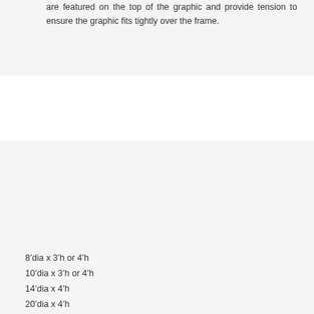are featured on the top of the graphic and provide tension to ensure the graphic fits tightly over the frame.
8'dia x 3'h or 4'h
10'dia x 3'h or 4'h
14'dia x 4'h
20'dia x 4'h